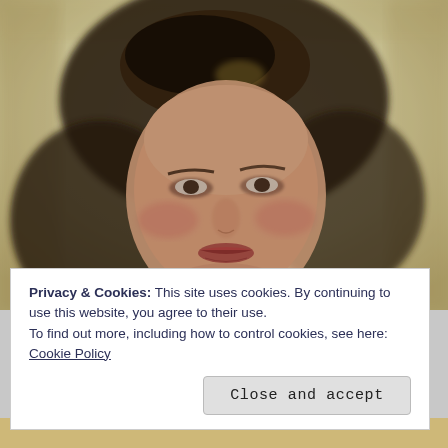[Figure (photo): Vintage colorized portrait photograph of a young woman with dark wavy hair styled in a 1940s updo, smiling slightly, against a pale yellow-cream background. The photo has a soft, slightly blurred quality typical of mid-20th century portrait photography.]
Privacy & Cookies: This site uses cookies. By continuing to use this website, you agree to their use.
To find out more, including how to control cookies, see here: Cookie Policy
Close and accept